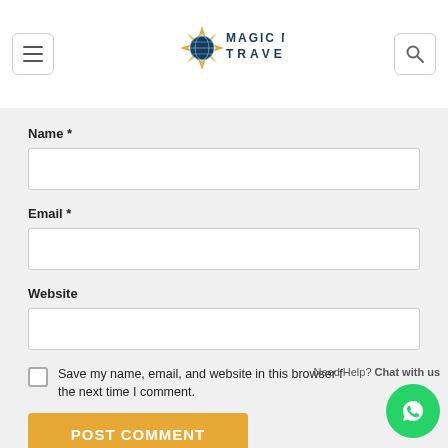[Figure (logo): Magic Map Travel logo with compass star and globe, orange and blue colors]
Name *
Email *
Website
Save my name, email, and website in this browser for the next time I comment.
POST COMMENT
Need Help? Chat with us